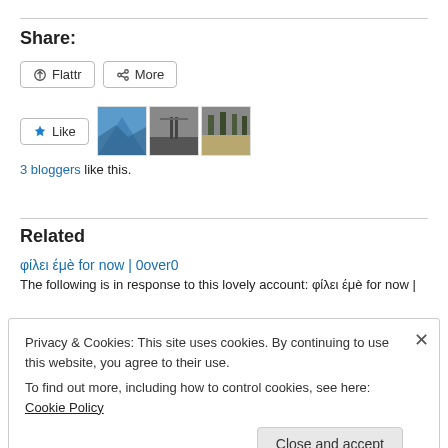Share:
Flattr
More
Like
3 bloggers like this.
Related
φίλει έμè for now | 0over0
The following is in response to this lovely account: φίλει έμè for now |
Privacy & Cookies: This site uses cookies. By continuing to use this website, you agree to their use. To find out more, including how to control cookies, see here: Cookie Policy
Close and accept